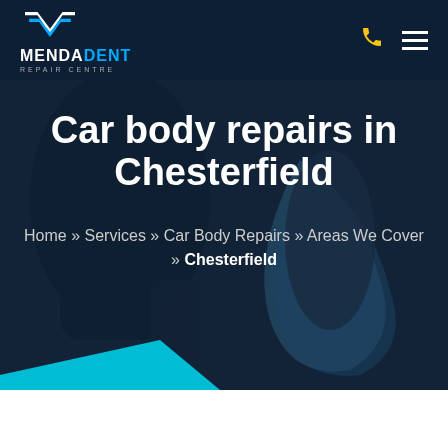[Figure (screenshot): MendaDent Repair Centre website header with dark navy background, logo top-left, phone and hamburger menu icons top-right, hero image of person holding blue cloth doing car body repair work with dark overlay]
MENDADENT REPAIR CENTRE
Car body repairs in Chesterfield
Home » Services » Car Body Repairs » Areas We Cover » Chesterfield